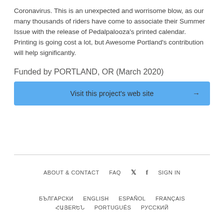Coronavirus. This is an unexpected and worrisome blow, as our many thousands of riders have come to associate their Summer Issue with the release of Pedalpalooza's printed calendar. Printing is going cost a lot, but Awesome Portland's contribution will help significantly.
Funded by PORTLAND, OR (March 2020)
Visit this project's web site →
ABOUT & CONTACT   FAQ   [twitter]   [facebook]   SIGN IN   БЪЛГАРСКИ   ENGLISH   ESPAÑOL   FRANÇAIS   ՀԱՅERԵՆ   PORTUGUÊS   РУССКИЙ